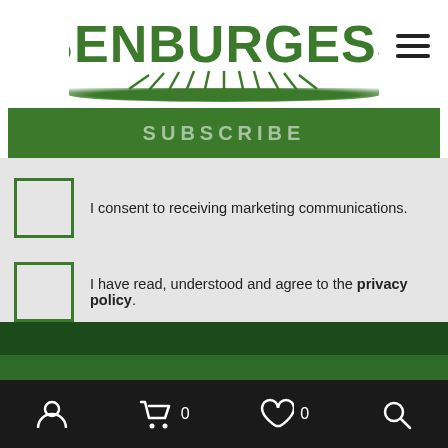BenBurgess
SUBSCRIBE
I consent to receiving marketing communications.
I have read, understood and agree to the privacy policy.
This site uses cookies. Read our Cookie Policy.
OK, NO PROBLEM
0  0